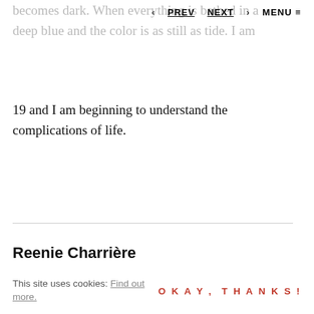becomes dark. When everything is bathed in a deep blue and the color is as still as tide. I am
< PREV   NEXT >   MENU ≡
19 and I am beginning to understand the complications of life.
Reenie Charrière
Reenie lives in Oakland, California. She received her MFA from Maine College of Art in
This site uses cookies: Find out more.
OKAY, THANKS!